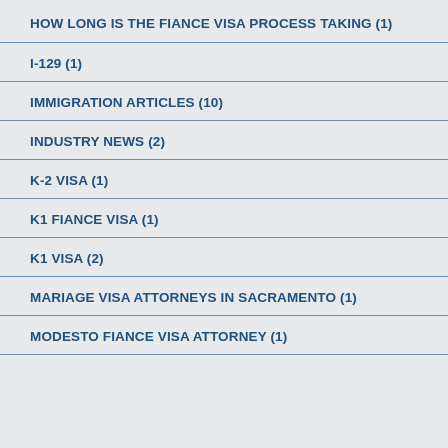HOW LONG IS THE FIANCE VISA PROCESS TAKING (1)
I-129 (1)
IMMIGRATION ARTICLES (10)
INDUSTRY NEWS (2)
K-2 VISA (1)
K1 FIANCE VISA (1)
K1 VISA (2)
MARIAGE VISA ATTORNEYS IN SACRAMENTO (1)
MODESTO FIANCE VISA ATTORNEY (1)